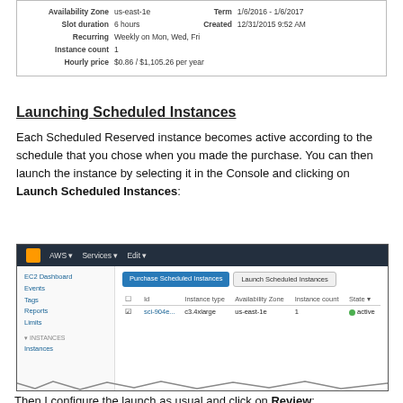[Figure (screenshot): AWS console info panel showing Availability Zone: us-east-1e, Term: 1/6/2016-1/6/2017, Slot duration: 6 hours, Created: 12/31/2015 9:52 AM, Recurring: Weekly on Mon, Wed, Fri, Instance count: 1, Hourly price: $0.86 / $1,105.26 per year]
Launching Scheduled Instances
Each Scheduled Reserved instance becomes active according to the schedule that you chose when you made the purchase. You can then launch the instance by selecting it in the Console and clicking on Launch Scheduled Instances:
[Figure (screenshot): AWS EC2 console showing Purchase Scheduled Instances and Launch Scheduled Instances buttons, with a table showing id: sci-904e..., Instance type: c3.4xlarge, Availability Zone: us-east-1e, Instance count: 1, State: active]
Then I configure the launch as usual and click on Review:
[Figure (screenshot): AWS console showing Launch Scheduled Instances page header]